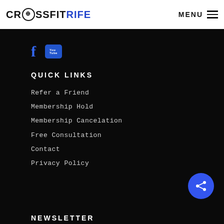CROSSFITRIFE MENU
[Figure (logo): Social media icons: Facebook (f) and YouTube icon in blue]
QUICK LINKS
Refer a Friend
Membership Hold
Membership Cancelation
Free Consultation
Contact
Privacy Policy
NEWSLETTER